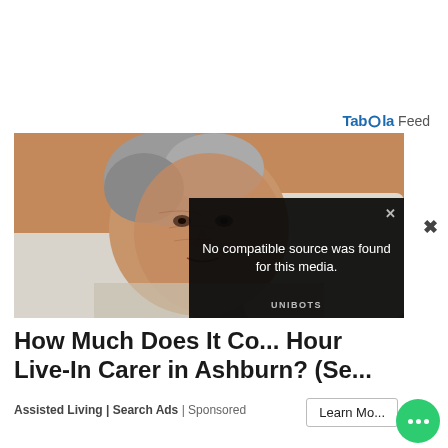Taboola Feed
[Figure (photo): Elderly woman with gray curly hair lying in a bed, close-up portrait, with a video player overlay showing 'No compatible source was found for this media.' and UNIBOTS branding]
How Much Does It Co... Hour Live-In Carer in Ashburn? (Se...
Assisted Living | Search Ads | Sponsored
Learn Mo...